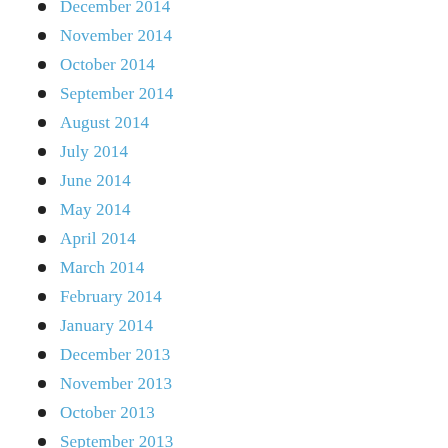December 2014
November 2014
October 2014
September 2014
August 2014
July 2014
June 2014
May 2014
April 2014
March 2014
February 2014
January 2014
December 2013
November 2013
October 2013
September 2013
August 2013